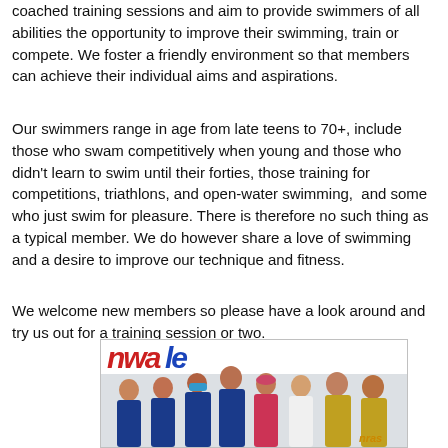coached training sessions and aim to provide swimmers of all abilities the opportunity to improve their swimming, train or compete. We foster a friendly environment so that members can achieve their individual aims and aspirations.
Our swimmers range in age from late teens to 70+, include those who swam competitively when young and those who didn't learn to swim until their forties, those training for competitions, triathlons, and open-water swimming,  and some who just swim for pleasure. There is therefore no such thing as a typical member. We do however share a love of swimming and a desire to improve our technique and fitness.
We welcome new members so please have a look around and try us out for a training session or two.
[Figure (photo): Group photo of swimmers in blue jackets and swim gear standing in front of a banner reading 'nwale' (partial text visible). About 8-9 people of mixed ages posing together indoors.]